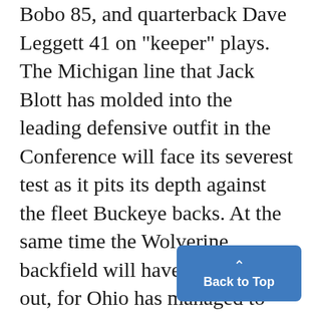Bobo 85, and quarterback Dave Leggett 41 on "keeper" plays. The Michigan line that Jack Blott has molded into the leading defensive outfit in the Conference will face its severest test as it pits its depth against the fleet Buckeye backs. At the same time the Wolverine backfield will have its work cut out, for Ohio has managed to hold eight straight opponents to two touchdowns or less per game. Athletic Directors' Choice Should Michigan upset Ohio St